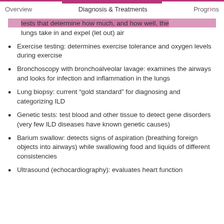Overview    Diagnosis & Treatments    Programs
tests that determine how much, and how well, the lungs take in and expel (let out) air
Exercise testing: determines exercise tolerance and oxygen levels during exercise
Bronchoscopy with bronchoalveolar lavage: examines the airways and looks for infection and inflammation in the lungs
Lung biopsy: current “gold standard” for diagnosing and categorizing ILD
Genetic tests: test blood and other tissue to detect gene disorders (very few ILD diseases have known genetic causes)
Barium swallow: detects signs of aspiration (breathing foreign objects into airways) while swallowing food and liquids of different consistencies
Ultrasound (echocardiography): evaluates heart function